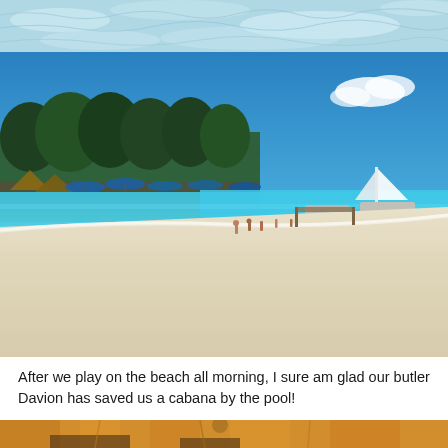[Figure (photo): Top portion of a beach photo showing shallow turquoise water with light reflections, cropped at the top of the page.]
[Figure (photo): Beach scene with bright blue sky, clear turquoise ocean water, white sandy beach, people walking along the shoreline, blue beach umbrellas and thatched huts in the background, a sailboat visible on the water to the right.]
After we play on the beach all morning, I sure am glad our butler Davion has saved us a cabana by the pool!
[Figure (photo): Bottom portion of a photo showing what appears to be a cabana or poolside area with orange/yellow fabric canopy and wooden furniture, partially visible at the bottom of the page.]